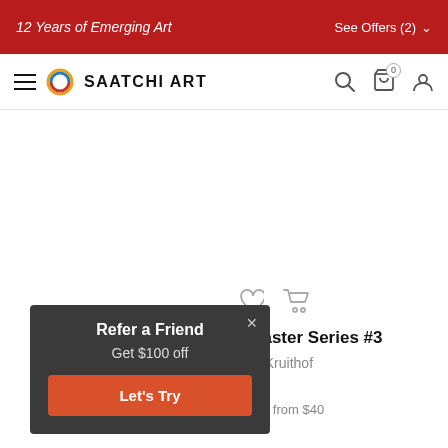12 Years of Emerging Art | See Offers (2)
[Figure (screenshot): Saatchi Art navigation bar with hamburger menu, circular logo, SAATCHI ART wordmark, search icon, cart icon with 0 badge, and user account icon]
[Figure (infographic): Heart (wishlist) and shopping cart icons for product actions]
Disaster Series #3
Dirk Kruithof
$420
Prints from $40
Refer a Friend
Get $100 off
Let's Try